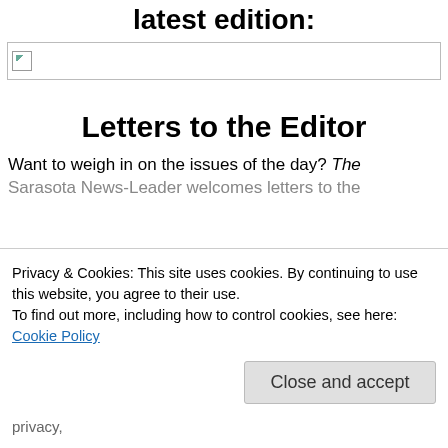latest edition:
[Figure (other): Broken/loading image placeholder]
Letters to the Editor
Want to weigh in on the issues of the day? The Sarasota News-Leader welcomes letters to the
Privacy & Cookies: This site uses cookies. By continuing to use this website, you agree to their use.
To find out more, including how to control cookies, see here: Cookie Policy
Close and accept